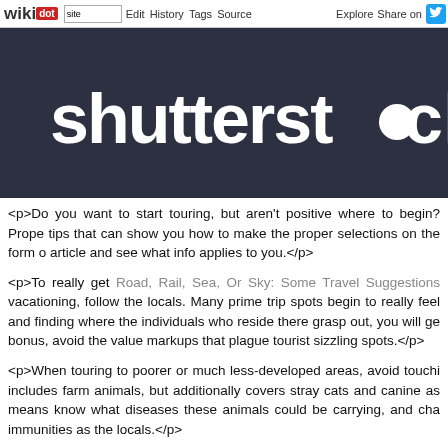wikidot | site Edit History Tags Source Explore Share on [twitter]
[Figure (screenshot): Shutterstock logo — white text on dark charcoal background]
<p>Do you want to start touring, but aren't positive where to begin? Prope tips that can show you how to make the proper selections on the form o article and see what info applies to you.</p>
<p>To really get Road, Rail, Sea, Or Sky: Some Travel Suggestions vacationing, follow the locals. Many prime trip spots begin to really fee and finding where the individuals who reside there grasp out, you will ge bonus, avoid the value markups that plague tourist sizzling spots.</p>
<p>When touring to poorer or much less-developed areas, avoid touchi includes farm animals, but additionally covers stray cats and canine as means know what diseases these animals could be carrying, and ch immunities as the locals.</p>
<p>For Make Your Subsequent Vacation A trip Of A Lifetime With These pack some clothes they will clean themselves with minimum effort. Too M Assist! do simply-cleanable clothes scale back the overall amount of clo provide a comfortable security web in the event of unplanned delays. Clot sink could be a godsend on an unexpected layover.</p>
<p>When staying at Getting Your Activity On: What You Must Understan convey along your individual A/V cable for your laptop computer. Most r room WiFi and a big HDTV, however will then cost a premium for in-room cable gives you access to your own choice of downloaded movies or w</p>